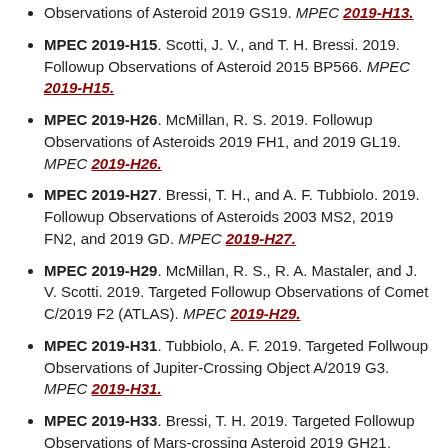MPEC 2019-H15. Scotti, J. V., and T. H. Bressi. 2019. Followup Observations of Asteroid 2015 BP566. MPEC 2019-H15.
MPEC 2019-H26. McMillan, R. S. 2019. Followup Observations of Asteroids 2019 FH1, and 2019 GL19. MPEC 2019-H26.
MPEC 2019-H27. Bressi, T. H., and A. F. Tubbiolo. 2019. Followup Observations of Asteroids 2003 MS2, 2019 FN2, and 2019 GD. MPEC 2019-H27.
MPEC 2019-H29. McMillan, R. S., R. A. Mastaler, and J. V. Scotti. 2019. Targeted Followup Observations of Comet C/2019 F2 (ATLAS). MPEC 2019-H29.
MPEC 2019-H31. Tubbiolo, A. F. 2019. Targeted Follwoup Observations of Jupiter-Crossing Object A/2019 G3. MPEC 2019-H31.
MPEC 2019-H33. Bressi, T. H. 2019. Targeted Followup Observations of Mars-crossing Asteroid 2019 GH21. MPEC 2019-H33.